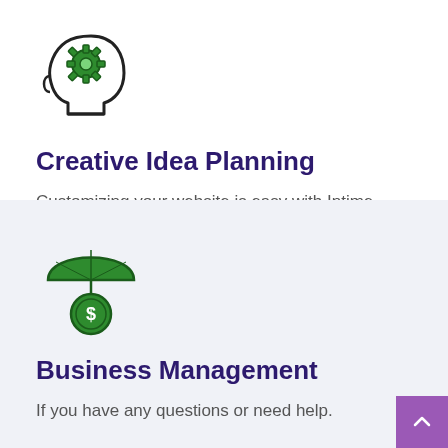[Figure (illustration): Icon of a human head profile with a green gear/cog inside, representing creative thinking or idea planning.]
Creative Idea Planning
Customizing your website is easy with Intime.
[Figure (illustration): Icon of a green umbrella over a coin with a dollar sign, representing financial protection or business management.]
Business Management
If you have any questions or need help.